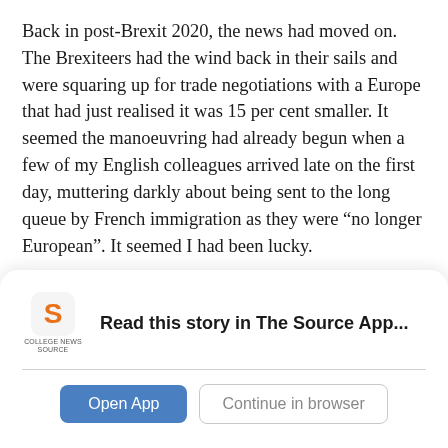Back in post-Brexit 2020, the news had moved on. The Brexiteers had the wind back in their sails and were squaring up for trade negotiations with a Europe that had just realised it was 15 per cent smaller. It seemed the manoeuvring had already begun when a few of my English colleagues arrived late on the first day, muttering darkly about being sent to the long queue by French immigration as they were “no longer European”. It seemed I had been lucky.
On the 26-hour journey back to Australia, alone with my thoughts and 400 fellow passengers, I dutifully ate the
[Figure (logo): College News Source logo - stylized orange 'S' with text 'COLLEGE NEWS SOURCE' below]
Read this story in The Source App...
Open App
Continue in browser